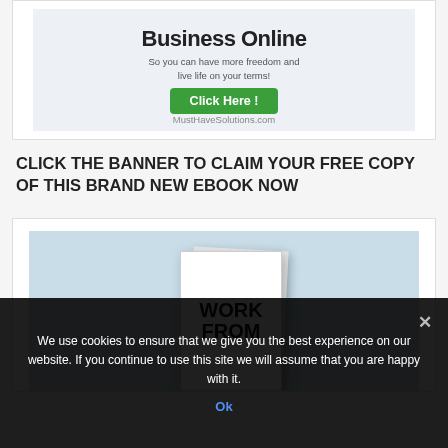[Figure (illustration): Advertisement banner with bold title 'Business Online', subtitle 'So you can have more freedom and live life on your terms!', a green 'Click Here!' button, and MustHaveSolutions.com text]
CLICK THE BANNER TO CLAIM YOUR FREE COPY OF THIS BRAND NEW EBOOK NOW
[Figure (photo): Photo of an ebook cover showing 'WORK FROM' text on a white book against a light blue background]
We use cookies to ensure that we give you the best experience on our website. If you continue to use this site we will assume that you are happy with it.
Ok